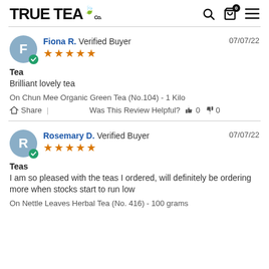TRUE TEA Co.
Fiona R. Verified Buyer 07/07/22 ★★★★★ Tea Brilliant lovely tea On Chun Mee Organic Green Tea (No.104) - 1 Kilo Share | Was This Review Helpful? 0 0
Rosemary D. Verified Buyer 07/07/22 ★★★★★ Teas I am so pleased with the teas I ordered, will definitely be ordering more when stocks start to run low On Nettle Leaves Herbal Tea (No. 416) - 100 grams